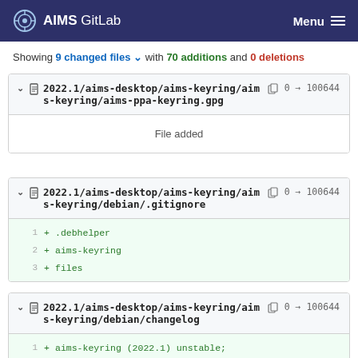AIMS GitLab   Menu
Showing 9 changed files with 70 additions and 0 deletions
2022.1/aims-desktop/aims-keyring/aims-keyring/aims-ppa-keyring.gpg  0 → 100644
File added
2022.1/aims-desktop/aims-keyring/aims-keyring/debian/.gitignore  0 → 100644
1  + .debhelper
2  + aims-keyring
3  + files
2022.1/aims-desktop/aims-keyring/aims-keyring/debian/changelog  0 → 100644
1  + aims-keyring (2022.1) unstable;